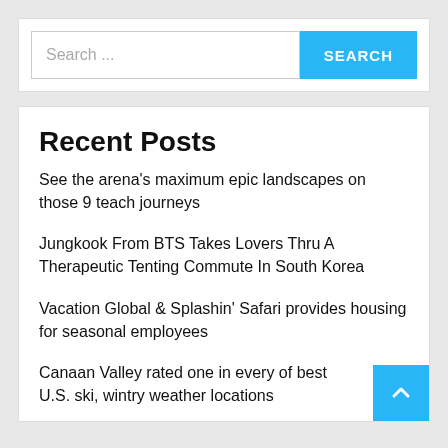Search ...
Recent Posts
See the arena’s maximum epic landscapes on those 9 teach journeys
Jungkook From BTS Takes Lovers Thru A Therapeutic Tenting Commute In South Korea
Vacation Global & Splashin’ Safari provides housing for seasonal employees
Canaan Valley rated one in every of best U.S. ski, wintry weather locations